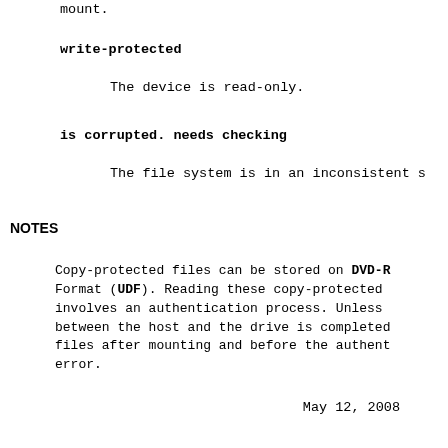mount.
write-protected
The device is read-only.
is corrupted. needs checking
The file system is in an inconsistent s
NOTES
Copy-protected files can be stored on DVD-R Format (UDF). Reading these copy-protected involves an authentication process. Unless between the host and the drive is completed files after mounting and before the authent error.
May 12, 2008